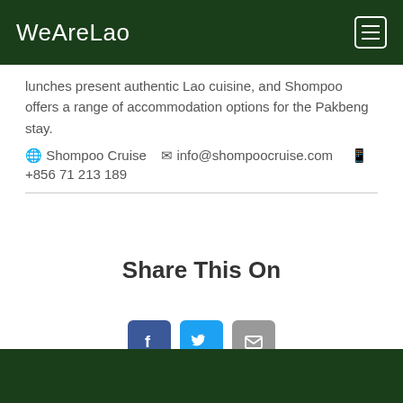WeAreLao
lunches present authentic Lao cuisine, and Shompoo offers a range of accommodation options for the Pakbeng stay.
🌐 Shompoo Cruise   ✉ info@shompoocruise.com   📱 +856 71 213 189
Share This On
[Figure (infographic): Three social share buttons: Facebook (blue), Twitter (cyan), Email (grey)]